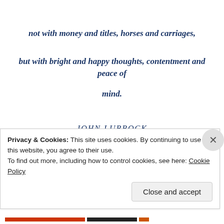not with money and titles, horses and carriages,
but with bright and happy thoughts, contentment and peace of mind.
JOHN LUBBOCK
*
Privacy & Cookies: This site uses cookies. By continuing to use this website, you agree to their use.
To find out more, including how to control cookies, see here: Cookie Policy